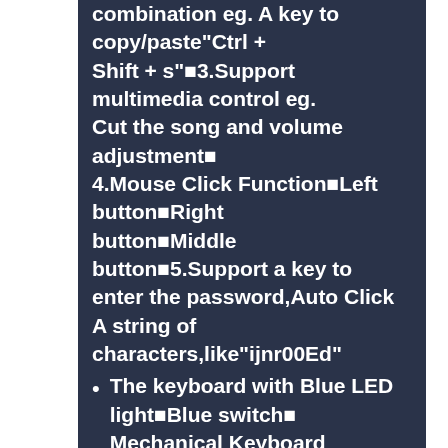combination eg. A key to copy/paste"Ctrl + Shift + s"■3.Support multimedia control eg. Cut the song and volume adjustment■4.Mouse Click Function■Left button■Right button■Middle button■5.Support a key to enter the password,Auto Click A string of characters,like"ijnr00Ed"
The keyboard with Blue LED light■Blue switch■ Mechanical Keyboard
How to use:Please open the link to download the setting software:http://43.129.69.35/?attachment_id=15, and connect the keyboard to the computer through the Micro USB cable■The software will recognize the device, and then you can freely set the keycode you want.It's easy !!
Package include■Please open the link to download the setting software■1*single key■1*1m USB Cable